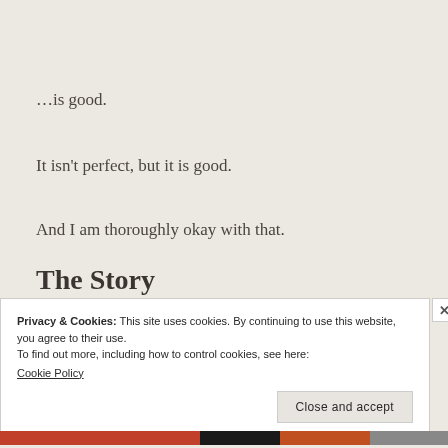…is good.
It isn't perfect, but it is good.
And I am thoroughly okay with that.
The Story
Privacy & Cookies: This site uses cookies. By continuing to use this website, you agree to their use.
To find out more, including how to control cookies, see here:
Cookie Policy
Close and accept